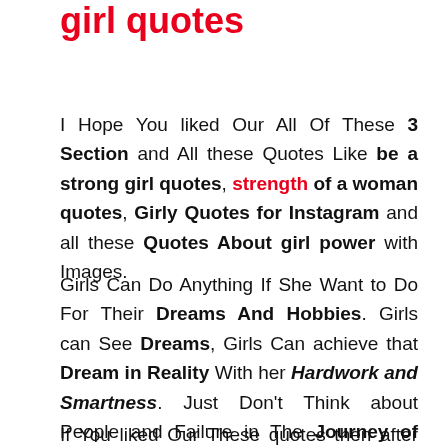Thanks For Reading be a strong girl quotes
I Hope You liked Our All Of These 3 Section and All these Quotes Like be a strong girl quotes, strength of a woman quotes, Girly Quotes for Instagram and all these Quotes About girl power with Images.
Girls Can Do Anything If She Want to Do For Their Dreams And Hobbies. Girls can See Dreams, Girls Can achieve that Dream in Reality With her Hardwork and Smartness. Just Don't Think about People and Failure in The Journey of Success.
If You liked Our These quotes then after from